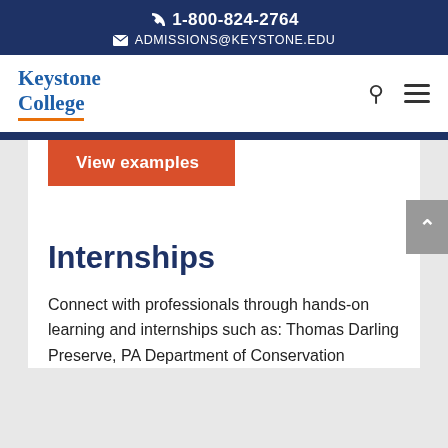1-800-824-2764
ADMISSIONS@KEYSTONE.EDU
[Figure (logo): Keystone College logo with blue serif text and orange underline]
[Figure (other): View examples button (red/orange)]
Internships
Connect with professionals through hands-on learning and internships such as: Thomas Darling Preserve, PA Department of Conservation